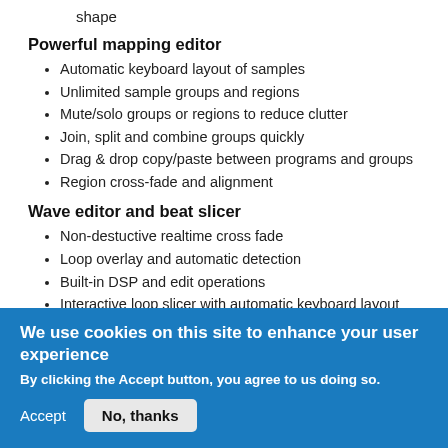shape
Powerful mapping editor
Automatic keyboard layout of samples
Unlimited sample groups and regions
Mute/solo groups or regions to reduce clutter
Join, split and combine groups quickly
Drag & drop copy/paste between programs and groups
Region cross-fade and alignment
Wave editor and beat slicer
Non-destuctive realtime cross fade
Loop overlay and automatic detection
Built-in DSP and edit operations
Interactive loop slicer with automatic keyboard layout
We use cookies on this site to enhance your user experience
By clicking the Accept button, you agree to us doing so.
Accept
No, thanks